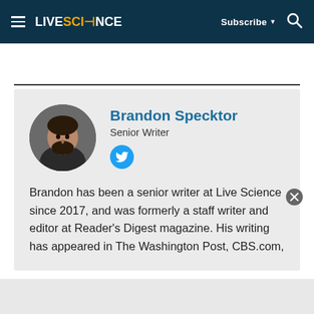LIVESCIENCE — Subscribe ▾ 🔍
[Figure (photo): Circular headshot photo of Brandon Specktor, a man with dark hair and beard wearing a dark shirt, against a gray background.]
Brandon Specktor
Senior Writer
[Figure (logo): Twitter bird icon in a light blue circle]
Brandon has been a senior writer at Live Science since 2017, and was formerly a staff writer and editor at Reader's Digest magazine. His writing has appeared in The Washington Post, CBS.com,